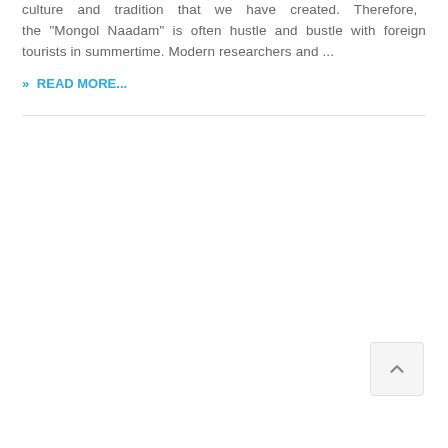culture and tradition that we have created. Therefore, the "Mongol Naadam" is often hustle and bustle with foreign tourists in summertime. Modern researchers and ...
» READ MORE...